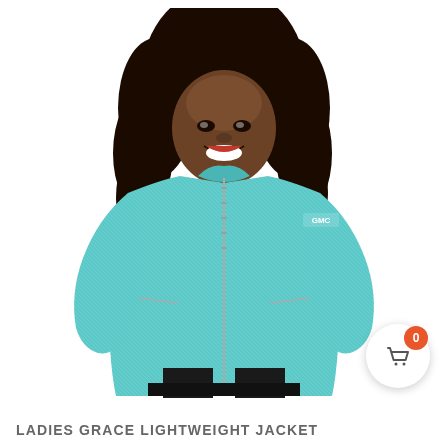[Figure (photo): A smiling woman with curly dark hair wearing a light blue/teal heathered zip-up lightweight jacket with a GMC logo on the left sleeve, standing against a white background. She wears black pants.]
LADIES GRACE LIGHTWEIGHT JACKET